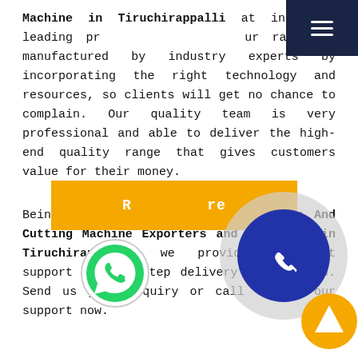Machine in Tiruchirappalli at industry-leading pr[…]ur range is manufactured by industry experts by incorporating the right technology and resources, so clients will get no chance to complain. Our quality team is very professional and able to deliver the high-end quality range that gives customers value for their money.
Being one of the noteworthy Pleating And Cutting Machine Exporters and Suppliers in Tiruchirappalli, we provide paramount support and doorstep delivery as promised. Send us your enquiry or call to get our support now.
[Figure (other): Orange 'Read More' button with WhatsApp icon overlay]
[Figure (other): Phone call widget: grey circle with blue inner circle and white phone icon, plus orange scroll-to-top arrow circle]